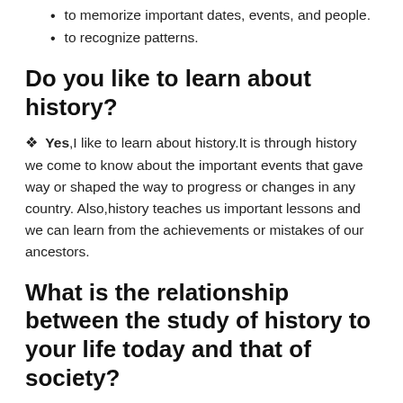to memorize important dates, events, and people.
to recognize patterns.
Do you like to learn about history?
❖ Yes,I like to learn about history.It is through history we come to know about the important events that gave way or shaped the way to progress or changes in any country. Also,history teaches us important lessons and we can learn from the achievements or mistakes of our ancestors.
What is the relationship between the study of history to your life today and that of society?
History matters because it helps us as individuals and as